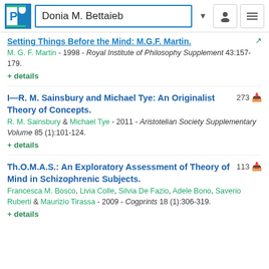Donia M. Bettaieb
Setting Things Before the Mind: M.G.F. Martin.
M. G. F. Martin - 1998 - Royal Institute of Philosophy Supplement 43:157-179.
+ details
I—R. M. Sainsbury and Michael Tye: An Originalist Theory of Concepts.
R. M. Sainsbury & Michael Tye - 2011 - Aristotelian Society Supplementary Volume 85 (1):101-124.
+ details
Th.O.M.A.S.: An Exploratory Assessment of Theory of Mind in Schizophrenic Subjects.
Francesca M. Bosco, Livia Colle, Silvia De Fazio, Adele Bono, Saverio Ruberti & Maurizio Tirassa - 2009 - Cogprints 18 (1):306-319.
+ details